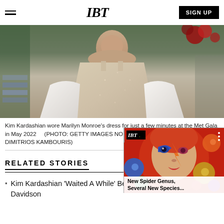IBT | SIGN UP
[Figure (photo): Kim Kardashian wearing Marilyn Monroe's sparkly beige dress with white fur wrap at the Met Gala]
Kim Kardashian wore Marilyn Monroe's dress for just a few minutes at the Met Gala in May 2022      (PHOTO: GETTY IMAGES NORTH AMERICA VIA AFP / DIMITRIOS KAMBOURIS)
RELATED STORIES
[Figure (screenshot): IBT floating video overlay showing a colorful face with lightning bolt makeup and title 'New Spider Genus, Several New Species...']
Kim Kardashian 'Waited A While' Before She Started Dating Pete Davidson